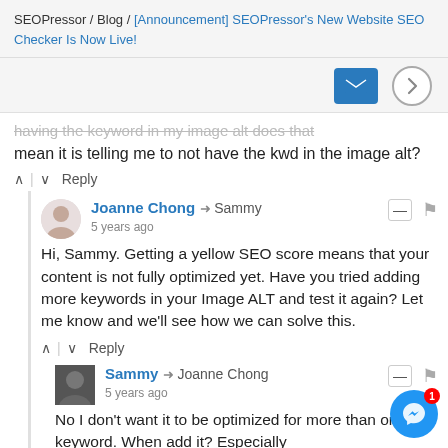SEOPressor / Blog / [Announcement] SEOPressor's New Website SEO Checker Is Now Live!
having the keyword in my image alt does that mean it is telling me to not have the kwd in the image alt?
Reply
Joanne Chong → Sammy
5 years ago
Hi, Sammy. Getting a yellow SEO score means that your content is not fully optimized yet. Have you tried adding more keywords in your Image ALT and test it again? Let me know and we'll see how we can solve this.
Reply
Sammy → Joanne Chong
5 years ago
No I don't want it to be optimized for more than one keyword. When add it? Especially